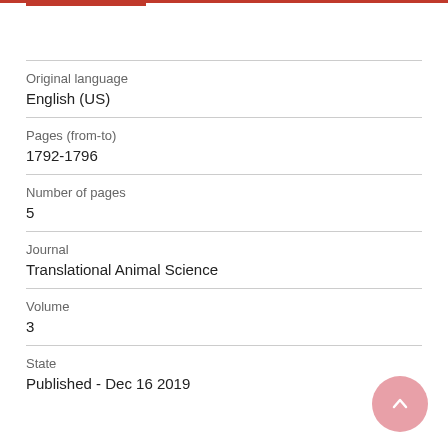Original language
English (US)
Pages (from-to)
1792-1796
Number of pages
5
Journal
Translational Animal Science
Volume
3
State
Published - Dec 16 2019